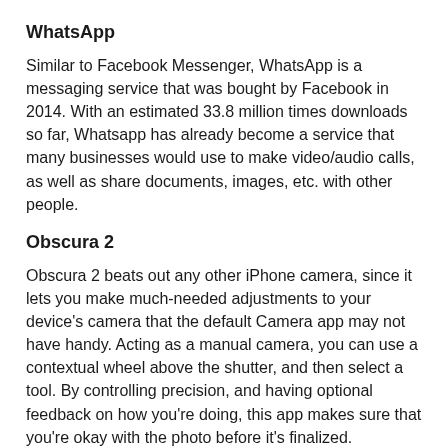WhatsApp
Similar to Facebook Messenger, WhatsApp is a messaging service that was bought by Facebook in 2014. With an estimated 33.8 million times downloads so far, Whatsapp has already become a service that many businesses would use to make video/audio calls, as well as share documents, images, etc. with other people.
Obscura 2
Obscura 2 beats out any other iPhone camera, since it lets you make much-needed adjustments to your device's camera that the default Camera app may not have handy. Acting as a manual camera, you can use a contextual wheel above the shutter, and then select a tool. By controlling precision, and having optional feedback on how you're doing, this app makes sure that you're okay with the photo before it's finalized.